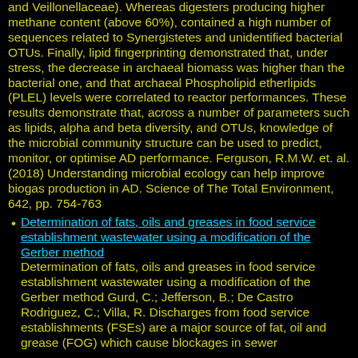and Veillonellaceae). Whereas digesters producing higher methane content (above 60%), contained a high number of sequences related to Synergistetes and unidentified bacterial OTUs. Finally, lipid fingerprinting demonstrated that, under stress, the decrease in archaeal biomass was higher than the bacterial one, and that archaeal Phospholipid etherlipids (PLEL) levels were correlated to reactor performances. These results demonstrate that, across a number of parameters such as lipids, alpha and beta diversity, and OTUs, knowledge of the microbial community structure can be used to predict, monitor, or optimise AD performance. Ferguson, R.M.W. et. al. (2018) Understanding microbial ecology can help improve biogas production in AD. Science of The Total Environment, 642, pp. 754-763
Determination of fats, oils and greases in food service establishment wastewater using a modification of the Gerber method
Determination of fats, oils and greases in food service establishment wastewater using a modification of the Gerber method Gurd, C.; Jefferson, B.; De Castro Rodriguez, C.; Villa, R. Discharges from food service establishments (FSEs) are a major source of fat, oil and grease (FOG) which cause blockages in sewer